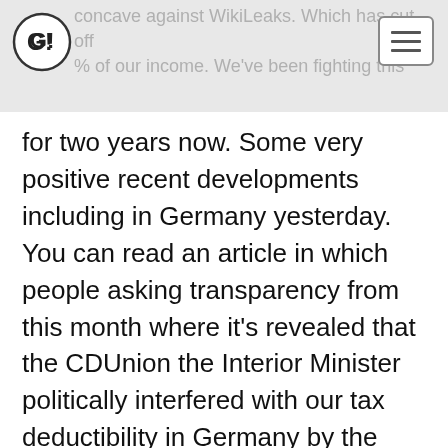concave against WikiLeaks. Which has cut off % of our income. We've been fighting this
for two years now. Some very positive recent developments including in Germany yesterday. You can read an article in which people asking transparency from this month where it's revealed that the CDUnion the Interior Minister politically interfered with our tax deductibility in Germany by the Wau Holland Foundation. Which was started in memory of the Germans that lost out a row on to remove charitable status from us in Germany in response to our publication of diplomatic cables.